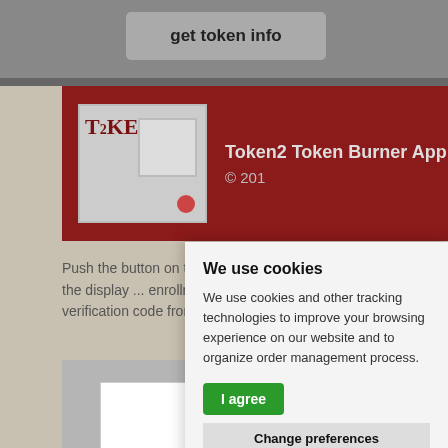get token info
get OTP
[Figure (screenshot): Token2 Token Burner Application logo and header with red background, TOKEN2 device image on left, text 'Token2 Token Burner Application © 201...' on right]
Push the button on the mini... code shown on the display ... enrollment windows (3.Ente... verification code from the c...
[Figure (screenshot): Application screenshot showing grey frame with white inner area]
We use cookies
We use cookies and other tracking technologies to improve your browsing experience on our website and to organize order management process.
I agree
Change preferences